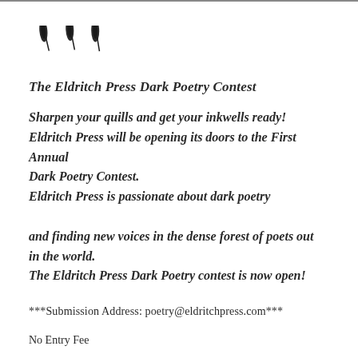[Figure (illustration): Three dark feather quill icons arranged horizontally]
The Eldritch Press Dark Poetry Contest
Sharpen your quills and get your inkwells ready! Eldritch Press will be opening its doors to the First Annual Dark Poetry Contest. Eldritch Press is passionate about dark poetry and finding new voices in the dense forest of poets out in the world. The Eldritch Press Dark Poetry contest is now open!
***Submission Address: poetry@eldritchpress.com***
No Entry Fee